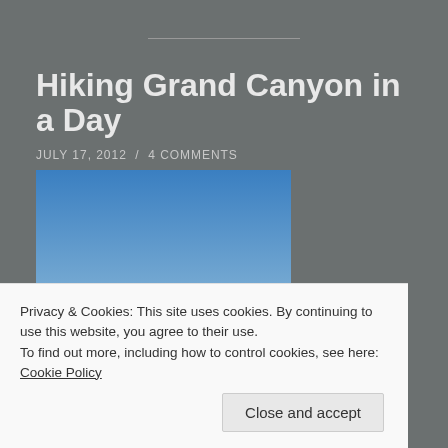Hiking Grand Canyon in a Day
JULY 17, 2012  /  4 COMMENTS
[Figure (photo): Photo of hikers silhouetted against a clear blue sky on a rocky ridge, Grand Canyon]
Privacy & Cookies: This site uses cookies. By continuing to use this website, you agree to their use.
To find out more, including how to control cookies, see here: Cookie Policy
Close and accept